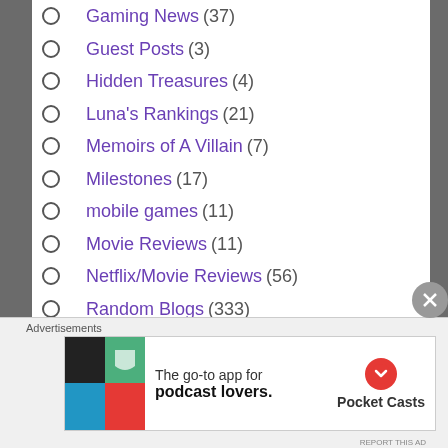Gaming News (37)
Guest Posts (3)
Hidden Treasures (4)
Luna's Rankings (21)
Memoirs of A Villain (7)
Milestones (17)
mobile games (11)
Movie Reviews (11)
Netflix/Movie Reviews (56)
Random Blogs (333)
Tabletop RPG (2)
Theme Parks (1)
Throwback/Nostalgia Posts (12)
Advertisements
[Figure (infographic): Pocket Casts advertisement banner: The go-to app for podcast lovers. Pocket Casts logo.]